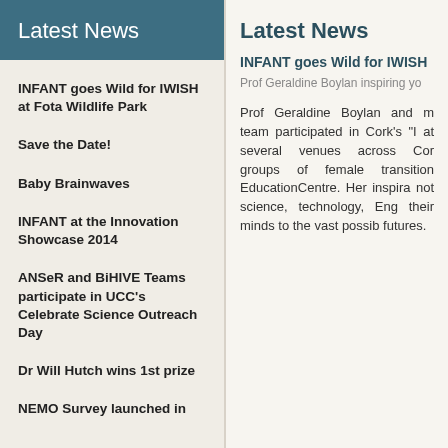Latest News
INFANT goes Wild for IWISH at Fota Wildlife Park
Save the Date!
Baby Brainwaves
INFANT at the Innovation Showcase 2014
ANSeR and BiHIVE Teams participate in UCC's Celebrate Science Outreach Day
Dr Will Hutch wins 1st prize
NEMO Survey launched in
Latest News
INFANT goes Wild for IWISH
Prof Geraldine Boylan inspiring yo
Prof Geraldine Boylan and m team participated in Cork's “I at several venues across Cor groups of female transition EducationCentre. Her inspira not science, technology, Eng their minds to the vast possib futures.